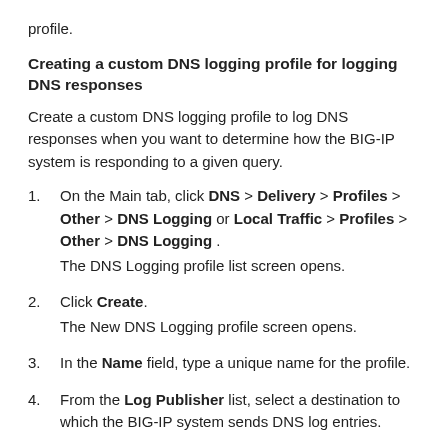profile.
Creating a custom DNS logging profile for logging DNS responses
Create a custom DNS logging profile to log DNS responses when you want to determine how the BIG-IP system is responding to a given query.
1. On the Main tab, click DNS > Delivery > Profiles > Other > DNS Logging or Local Traffic > Profiles > Other > DNS Logging . The DNS Logging profile list screen opens.
2. Click Create. The New DNS Logging profile screen opens.
3. In the Name field, type a unique name for the profile.
4. From the Log Publisher list, select a destination to which the BIG-IP system sends DNS log entries.
5. For the Log Responses setting, select the Enabled